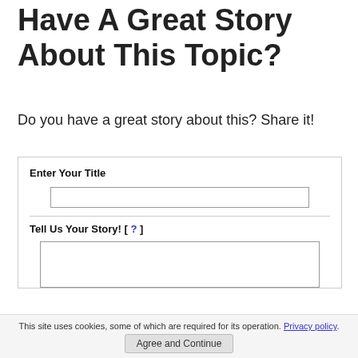Have A Great Story About This Topic?
Do you have a great story about this? Share it!
Enter Your Title
Tell Us Your Story! [ ? ]
This site uses cookies, some of which are required for its operation. Privacy policy.
Agree and Continue